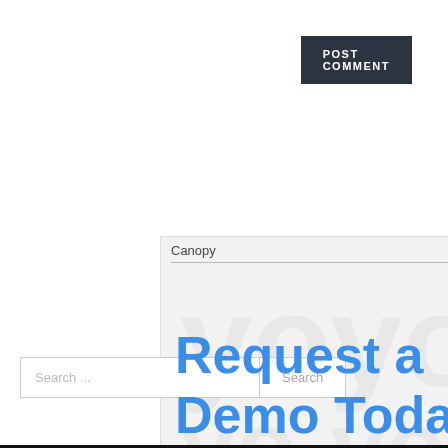POST COMMENT
[Figure (screenshot): Advertisement banner for Canopy showing 'Request a Demo Today' text in blue with an 'Open' button at the bottom]
Search ...
Search